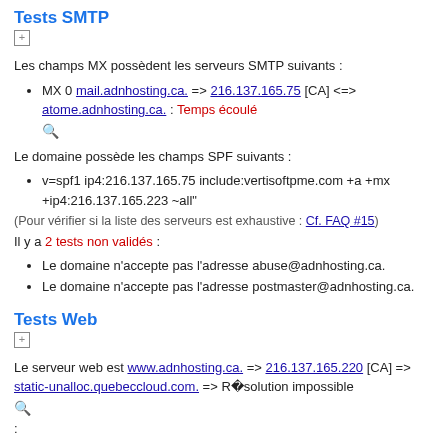Tests SMTP
Les champs MX possèdent les serveurs SMTP suivants :
MX 0 mail.adnhosting.ca. => 216.137.165.75 [CA] <=> atome.adnhosting.ca. : Temps écoulé
Le domaine possède les champs SPF suivants :
v=spf1 ip4:216.137.165.75 include:vertisoftpme.com +a +mx +ip4:216.137.165.223 ~all"
(Pour vérifier si la liste des serveurs est exhaustive : Cf. FAQ #15)
Il y a 2 tests non validés :
Le domaine n'accepte pas l'adresse abuse@adnhosting.ca.
Le domaine n'accepte pas l'adresse postmaster@adnhosting.ca.
Tests Web
Le serveur web est www.adnhosting.ca. => 216.137.165.220 [CA] => static-unalloc.quebeccloud.com. => Résolution impossible
Aucun titre
Début du site :